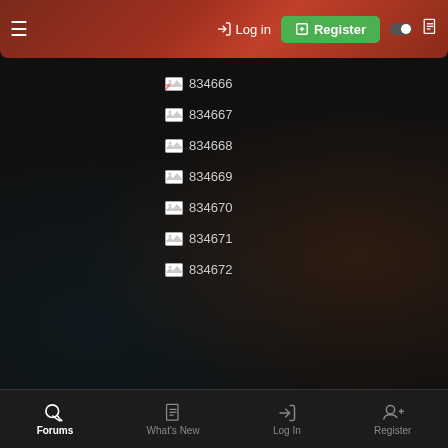Log in | Register
[Figure (screenshot): Broken image placeholder with label 834666]
[Figure (screenshot): Broken image placeholder with label 834667]
[Figure (screenshot): Broken image placeholder with label 834668]
[Figure (screenshot): Broken image placeholder with label 834669]
[Figure (screenshot): Broken image placeholder with label 834670]
[Figure (screenshot): Broken image placeholder with label 834671]
[Figure (screenshot): Broken image placeholder with label 834672]
Forums | What's New | Log In | Register